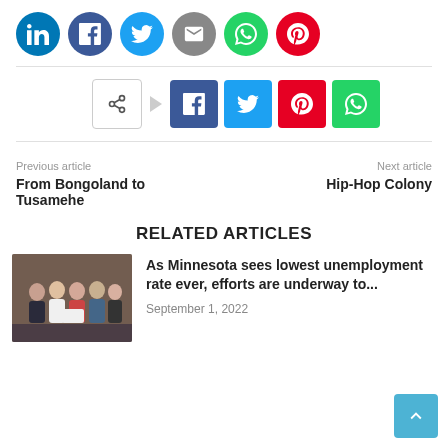[Figure (infographic): Row of six circular social media share buttons: LinkedIn (blue), Facebook (dark blue), Twitter (light blue), Email (grey), WhatsApp (green), Pinterest (red)]
[Figure (infographic): Share button row with outline share icon, arrow, and four square buttons: Facebook (dark blue), Twitter (light blue), Pinterest (red), WhatsApp (green)]
Previous article
From Bongoland to Tusamehe
Next article
Hip-Hop Colony
RELATED ARTICLES
[Figure (photo): Group photo of people at an event, indoor setting]
As Minnesota sees lowest unemployment rate ever, efforts are underway to...
September 1, 2022